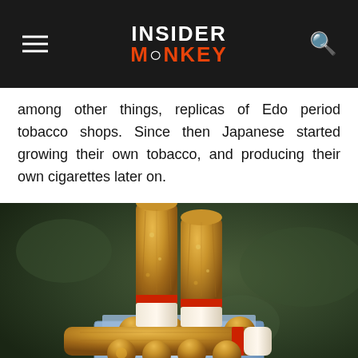INSIDER MONKEY
among other things, replicas of Edo period tobacco shops. Since then Japanese started growing their own tobacco, and producing their own cigarettes later on.
[Figure (photo): An open pack of cigarettes showing multiple cigarettes sticking out, with a blurred dark green background.]